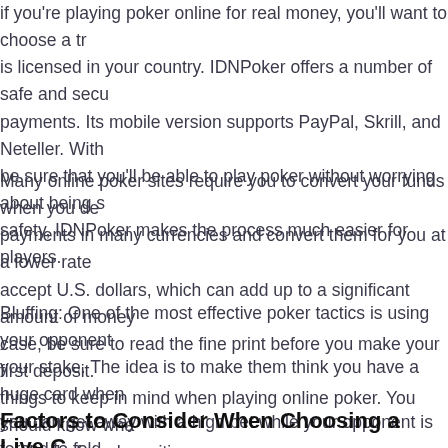if you're playing poker online for real money, you'll want to choose a tr is licensed in your country. IDNPoker offers a number of safe and secu payments. Its mobile version supports PayPal, Skrill, and Neteller. With be sure that you'll be able to play poker without worrying about being s safety, IDNPoker makes the process much easier for players.
Many online poker sites require you to convert your funds when you de payments in many currencies and convert them for you at a lower rate accept U.S. dollars, which can add up to a significant amount of money case, be sure to read the fine print before you make your first deposit. things to keep in mind when playing online poker. You should know wha to play before depositing your money.
Bluffing: One of the most effective poker tactics is using your opponent your stake. The idea is to make them think you have a huge card when you can get away with a high bet while your opponent is forced to fold. however. Just like any other strategy, it is always best to play your han that you can always change your strategy if your opponent is limiting yo
Factors to Consider When Choosing a Live C